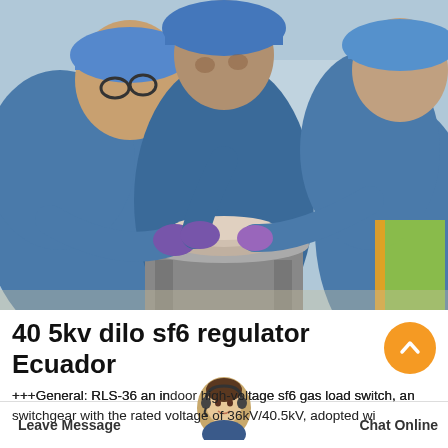[Figure (photo): Three workers in blue coveralls and blue hard hats working together on a circular component on a metal stand outdoors. Workers are wearing purple gloves.]
40 5kv dilo sf6 regulator Ecuador
+++General: RLS-36 an indoor high-voltage sf6 gas load switch, an switchgear with the rated voltage of 36kV/40.5kV, adopted wi